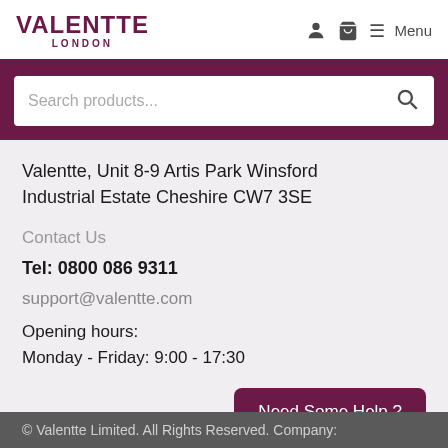VALENTTE LONDON
Valentte, Unit 8-9 Artis Park Winsford Industrial Estate Cheshire CW7 3SE
Contact Us
Tel: 0800 086 9311
support@valentte.com
Opening hours:
Monday - Friday: 9:00 - 17:30
Need Some Help ?
© Valentte Limited. All Rights Reserved. Company: